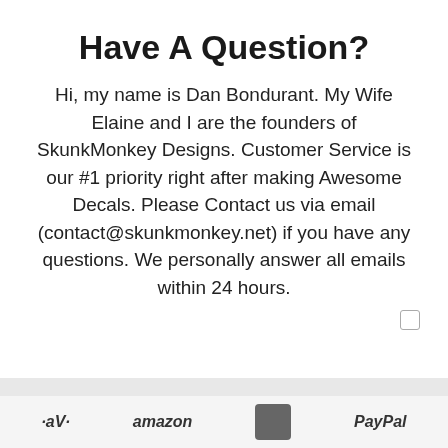Have A Question?
Hi, my name is Dan Bondurant. My Wife Elaine and I are the founders of SkunkMonkey Designs. Customer Service is our #1 priority right after making Awesome Decals. Please Contact us via email (contact@skunkmonkey.net) if you have any questions. We personally answer all emails within 24 hours.
[Figure (logo): Payment and partner logos: Jay, Amazon, a square icon, and PayPal shown in a footer bar]